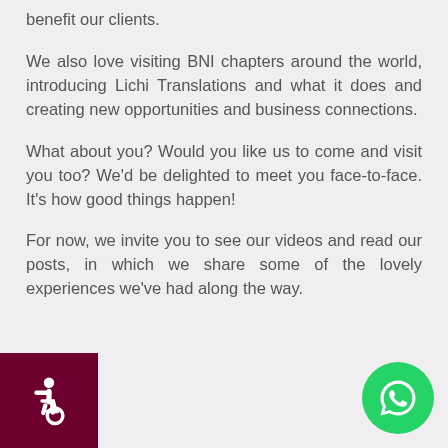benefit our clients.
We also love visiting BNI chapters around the world, introducing Lichi Translations and what it does and creating new opportunities and business connections.
What about you? Would you like us to come and visit you too? We'd be delighted to meet you face-to-face. It's how good things happen!
For now, we invite you to see our videos and read our posts, in which we share some of the lovely experiences we've had along the way.
[Figure (illustration): Dark maroon square button with white wheelchair accessibility icon in bottom-left corner]
[Figure (illustration): Green circular WhatsApp button with white phone/chat icon in bottom-right corner]